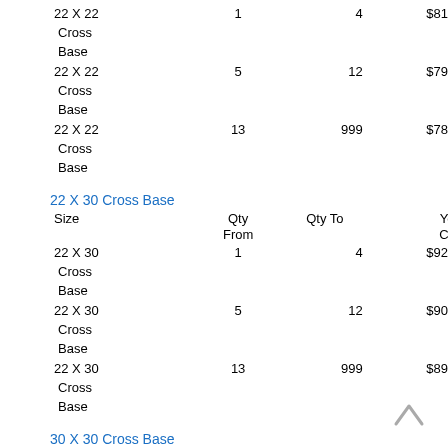| Size | Qty From | Qty To | Your Cost |
| --- | --- | --- | --- |
| 22 X 22 Cross Base | 1 | 4 | $81.00 |
| 22 X 22 Cross Base | 5 | 12 | $79.00 |
| 22 X 22 Cross Base | 13 | 999 | $78.00 |
22 X 30 Cross Base
| Size | Qty From | Qty To | Your Cost |
| --- | --- | --- | --- |
| 22 X 30 Cross Base | 1 | 4 | $92.00 |
| 22 X 30 Cross Base | 5 | 12 | $90.00 |
| 22 X 30 Cross Base | 13 | 999 | $89.00 |
30 X 30 Cross Base
| Size | Qty | Qty To | Your |
| --- | --- | --- | --- |